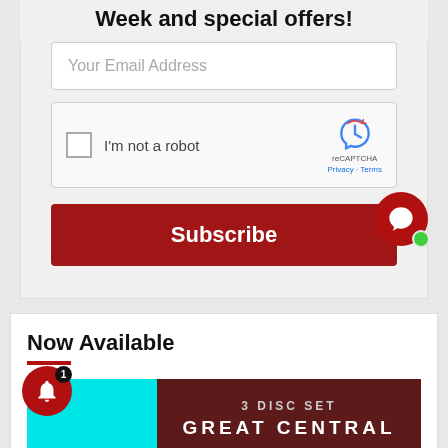week and special offers!
Your Email Address
[Figure (screenshot): reCAPTCHA widget with checkbox labeled 'I'm not a robot' and reCAPTCHA logo with Privacy and Terms links]
Subscribe
[Figure (other): Red circular chat button with speech bubble icon and green online indicator dot]
Now Available
[Figure (other): Product image strip: cyan left panel, dark red right panel with '3 DISC SET' and 'GREAT CENTRAL' text]
[Figure (other): Red circular bell notification icon with badge showing count '1']